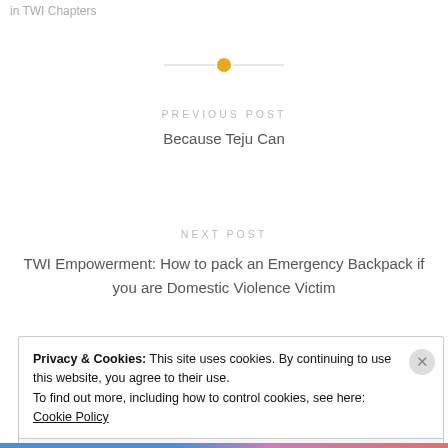in TWI Chapters
PREVIOUS POST
Because Teju Can
NEXT POST
TWI Empowerment: How to pack an Emergency Backpack if you are Domestic Violence Victim
Privacy & Cookies: This site uses cookies. By continuing to use this website, you agree to their use. To find out more, including how to control cookies, see here: Cookie Policy
Close and accept